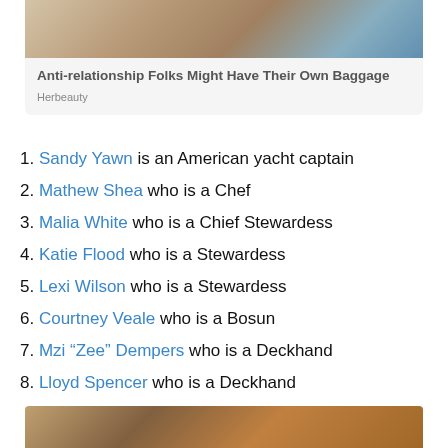[Figure (photo): Top portion of an advertisement card showing a photo with dishes/coffee cups and a person in a light blue top]
Anti-relationship Folks Might Have Their Own Baggage
Herbeauty
Sandy Yawn is an American yacht captain
Mathew Shea who is a Chef
Malia White who is a Chief Stewardess
Katie Flood who is a Stewardess
Lexi Wilson who is a Stewardess
Courtney Veale who is a Bosun
Mzi “Zee” Dempers who is a Deckhand
Lloyd Spencer who is a Deckhand
[Figure (photo): Bottom portion of another image/article card, partially visible]